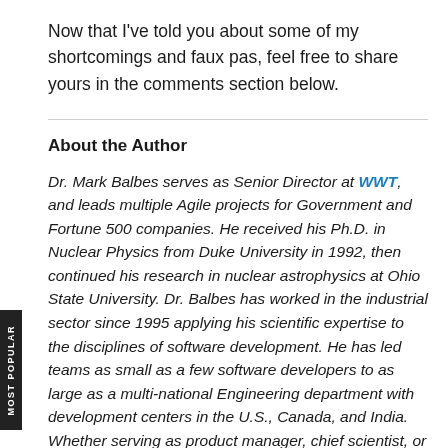Now that I've told you about some of my shortcomings and faux pas, feel free to share yours in the comments section below.
About the Author
Dr. Mark Balbes serves as Senior Director at WWT, and leads multiple Agile projects for Government and Fortune 500 companies. He received his Ph.D. in Nuclear Physics from Duke University in 1992, then continued his research in nuclear astrophysics at Ohio State University. Dr. Balbes has worked in the industrial sector since 1995 applying his scientific expertise to the disciplines of software development. He has led teams as small as a few software developers to as large as a multi-national Engineering department with development centers in the U.S., Canada, and India. Whether serving as product manager, chief scientist, or chief architect, he provides